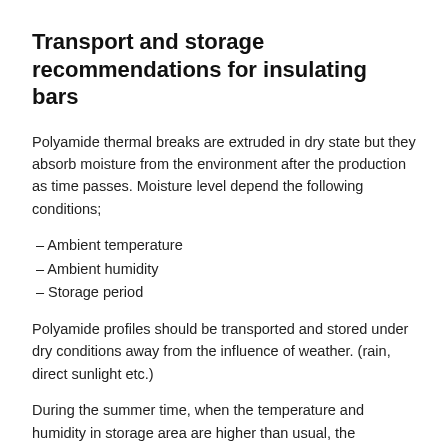Transport and storage recommendations for insulating bars
Polyamide thermal breaks are extruded in dry state but they absorb moisture from the environment after the production as time passes. Moisture level depend the following conditions;
– Ambient temperature
– Ambient humidity
– Storage period
Polyamide profiles should be transported and stored under dry conditions away from the influence of weather. (rain, direct sunlight etc.)
During the summer time, when the temperature and humidity in storage area are higher than usual, the